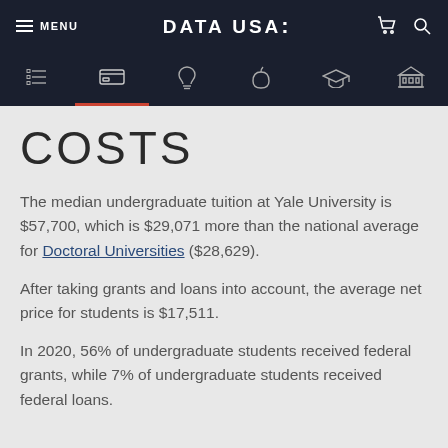MENU | DATA USA: | (cart icon) (search icon)
COSTS
The median undergraduate tuition at Yale University is $57,700, which is $29,071 more than the national average for Doctoral Universities ($28,629).
After taking grants and loans into account, the average net price for students is $17,511.
In 2020, 56% of undergraduate students received federal grants, while 7% of undergraduate students received federal loans.